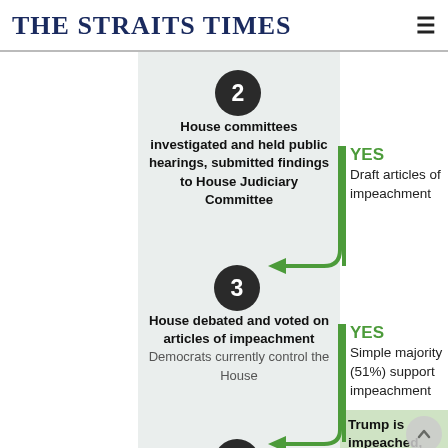THE STRAITS TIMES
[Figure (flowchart): Impeachment process flowchart showing steps 2 and 3. Step 2: House committees investigated and held public hearings, submitted findings to House Judiciary Committee. YES branch leads to Draft articles of impeachment. Step 3: House debated and voted on articles of impeachment. Democrats currently control the House. YES (Simple majority 51% support impeachment) leads to Trump is impeached, not removed from office. Step 4 circle partially visible at bottom.]